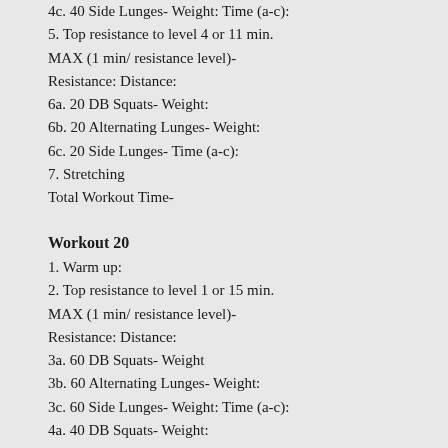4c. 40 Side Lunges- Weight: Time (a-c):
5. Top resistance to level 4 or 11 min. MAX (1 min/ resistance level)- Resistance: Distance:
6a. 20 DB Squats- Weight:
6b. 20 Alternating Lunges- Weight:
6c. 20 Side Lunges- Time (a-c):
7. Stretching
Total Workout Time-
Workout 20
1. Warm up:
2. Top resistance to level 1 or 15 min. MAX (1 min/ resistance level)- Resistance: Distance:
3a. 60 DB Squats- Weight
3b. 60 Alternating Lunges- Weight:
3c. 60 Side Lunges- Weight: Time (a-c):
4a. 40 DB Squats- Weight:
4b. 40 Alternating Lunges- Weight
4c. 40 Side Lunges- Weight: Time (a-c):
5. Top resistance to level 4 or 11 min. MAX (1 min/ resistance level)- Resistance: Distance:
6a. 20 DB Squats- Weight:
6b. 20 Alternating Lunges- Weight: